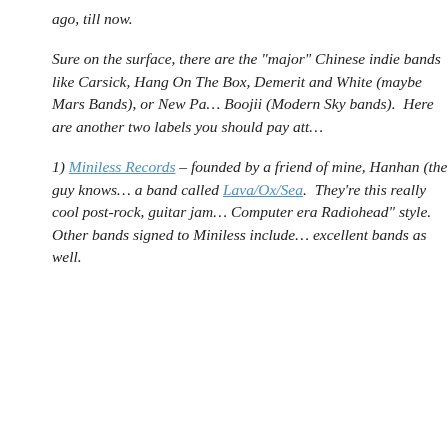ago, till now.
Sure on the surface, there are the "major" Chinese indie bands like Carsick, Hang On The Box, Demerit and White (maybe Mars Bands), or New Pa... Boojii (Modern Sky bands). Here are another two labels you should pay att...
1) Miniless Records – founded by a friend of mine, Hanhan (the guy knows... a band called Lava/Ox/Sea. They're this really cool post-rock, guitar jam... Computer era Radiohead" style. Other bands signed to Miniless include... excellent bands as well.